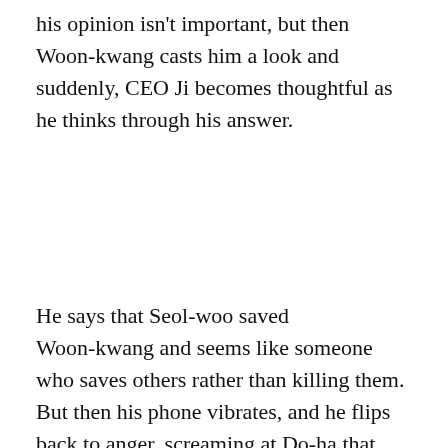his opinion isn't important, but then Woon-kwang casts him a look and suddenly, CEO Ji becomes thoughtful as he thinks through his answer.
He says that Seol-woo saved Woon-kwang and seems like someone who saves others rather than killing them. But then his phone vibrates, and he flips back to anger, screaming at Do-ha that that doesn't matter since reporters have been hounding